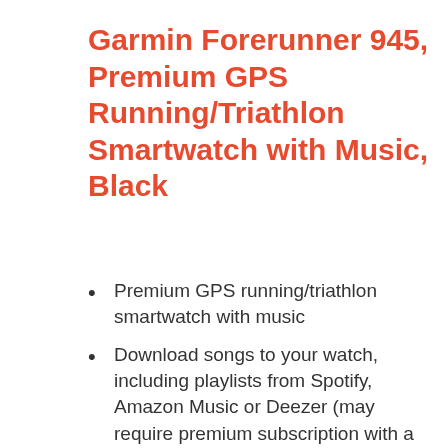Garmin Forerunner 945, Premium GPS Running/Triathlon Smartwatch with Music, Black
Premium GPS running/triathlon smartwatch with music
Download songs to your watch, including playlists from Spotify, Amazon Music or Deezer (may require premium subscription with a third party music provider)